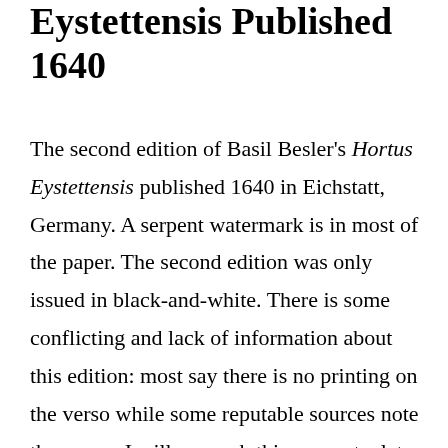Eystettensis Published 1640
The second edition of Basil Besler's Hortus Eystettensis published 1640 in Eichstatt, Germany. A serpent watermark is in most of the paper. The second edition was only issued in black-and-white. There is some conflicting and lack of information about this edition: most say there is no printing on the verso while some reputable sources note there was. I will research this more at a later time.